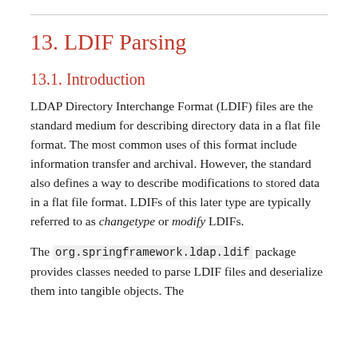13. LDIF Parsing
13.1. Introduction
LDAP Directory Interchange Format (LDIF) files are the standard medium for describing directory data in a flat file format. The most common uses of this format include information transfer and archival. However, the standard also defines a way to describe modifications to stored data in a flat file format. LDIFs of this later type are typically referred to as changetype or modify LDIFs.
The org.springframework.ldap.ldif package provides classes needed to parse LDIF files and deserialize them into tangible objects. The